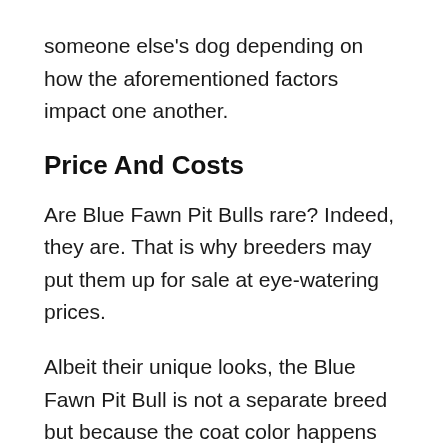someone else's dog depending on how the aforementioned factors impact one another.
Price And Costs
Are Blue Fawn Pit Bulls rare? Indeed, they are. That is why breeders may put them up for sale at eye-watering prices.
Albeit their unique looks, the Blue Fawn Pit Bull is not a separate breed but because the coat color happens only once in a blue